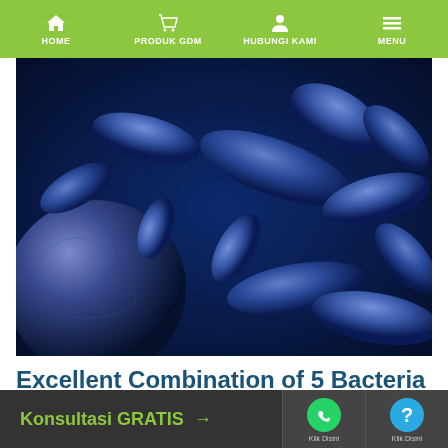HOME | PRODUK GDM | HUBUNGI KAMI | MENU
[Figure (photo): Microscopic image of bacteria — blue-toned rod-shaped and spherical bacteria cells under electron microscope]
Excellent Combination of 5 Bacteria inside GDM Organic Supplement for Fishery
Konsultasi GRATIS → | Klik Disini | Klik Disini